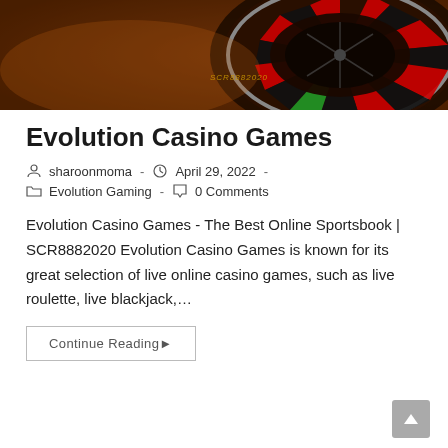[Figure (photo): Close-up photograph of a casino roulette wheel with red and black slots, dramatic lighting, SCR8882020 watermark visible]
Evolution Casino Games
sharoonmoma  -  April 29, 2022  -  Evolution Gaming  -  0 Comments
Evolution Casino Games - The Best Online Sportsbook | SCR8882020 Evolution Casino Games is known for its great selection of live online casino games, such as live roulette, live blackjack,…
Continue Reading▶